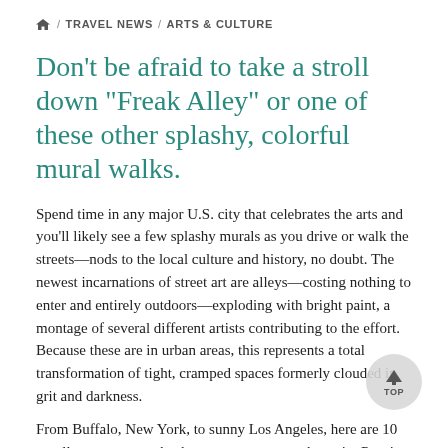🏠 / TRAVEL NEWS / ARTS & CULTURE
Don't be afraid to take a stroll down "Freak Alley" or one of these other splashy, colorful mural walks.
Spend time in any major U.S. city that celebrates the arts and you'll likely see a few splashy murals as you drive or walk the streets—nods to the local culture and history, no doubt. The newest incarnations of street art are alleys—costing nothing to enter and entirely outdoors—exploding with bright paint, a montage of several different artists contributing to the effort. Because these are in urban areas, this represents a total transformation of tight, cramped spaces formerly clouded in grit and darkness.
From Buffalo, New York, to sunny Los Angeles, here are 10 art alleys you must check out on your next urban trip. Pro tip: charge